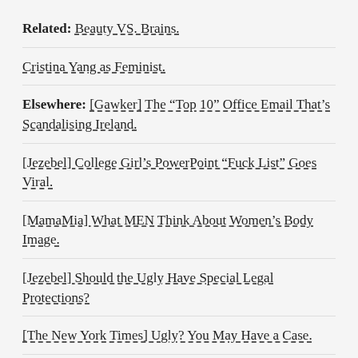Related: Beauty VS. Brains.
Cristina Yang as Feminist.
Elsewhere: [Gawker] The “Top 10” Office Email That’s Scandalising Ireland.
[Jezebel] College Girl’s PowerPoint “Fuck List” Goes Viral.
[MamaMia] What MEN Think About Women’s Body Image.
[Jezebel] Should the Ugly Have Special Legal Protections?
[The New York Times] Ugly? You May Have a Case.